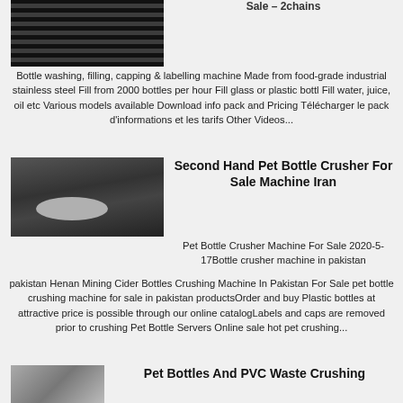[Figure (photo): Dark rolled rubber or conveyor belt material]
Bottle washing, filling, capping & labelling machine Made from food-grade industrial stainless steel Fill from 2000 bottles per hour Fill glass or plastic bottl Fill water, juice, oil etc Various models available Download info pack and Pricing Télécharger le pack d’informations et les tarifs Other Videos...
[Figure (photo): Industrial machine part with oval shaped component]
Second Hand Pet Bottle Crusher For Sale Machine Iran
Pet Bottle Crusher Machine For Sale 2020-5-17Bottle crusher machine in pakistan Henan Mining Cider Bottles Crushing Machine In Pakistan For Sale pet bottle crushing machine for sale in pakistan productsOrder and buy Plastic bottles at attractive price is possible through our online catalogLabels and caps are removed prior to crushing Pet Bottle Servers Online sale hot pet crushing...
[Figure (photo): Small machinery parts, blurry foreground]
Pet Bottles And PVC Waste Crushing